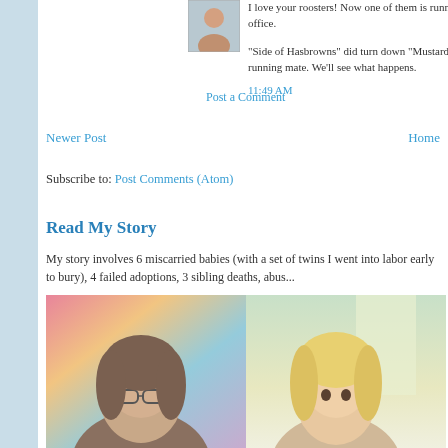[Figure (photo): Small avatar photo of a person with blonde hair]
I love your roosters! Now one of them is running for office.
"Side of Hasbrowns" did turn down "Mustard" as his running mate. We'll see what happens.
11:49 AM
Post a Comment
Newer Post
Home
Subscribe to: Post Comments (Atom)
Read My Story
My story involves 6 miscarried babies (with a set of twins I went into labor early to bury), 4 failed adoptions, 3 sibling deaths, abus...
[Figure (photo): Photo of two women, one with glasses and one with blonde hair, appearing to take a selfie]